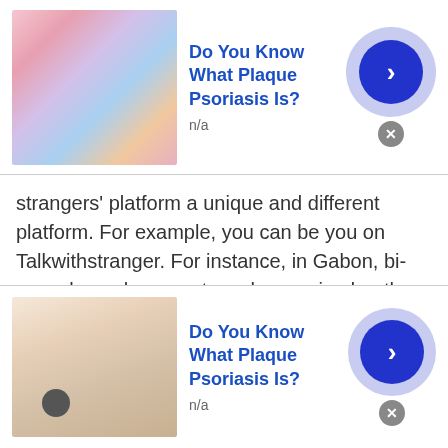[Figure (infographic): Top advertisement banner: thumbnail image of colorful skin, title 'Do You Know What Plaque Psoriasis Is?', subtitle 'n/a', blue circular arrow button, close X button]
strangers' platform a unique and different platform. For example, you can be you on Talkwithstranger. For instance, in Gabon, bi-sexual people are not much appraised, rather they are considered cheap people. However, on this platform, these kinds of people can also feel loved. Since there are people from all around the world that are present on Gabonese chat sites to chat with the people of Gabon. Some of the reasons that make this platform different are explained below.
[Figure (infographic): Bottom advertisement banner: thumbnail image of hand with dark spot, title 'Do You Know What Plaque Psoriasis Is?', subtitle 'n/a', blue circular arrow button, close X button]